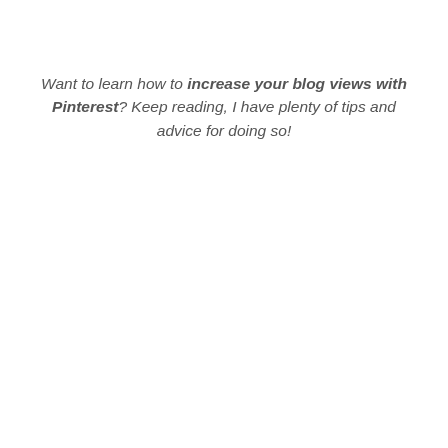Want to learn how to increase your blog views with Pinterest? Keep reading, I have plenty of tips and advice for doing so!